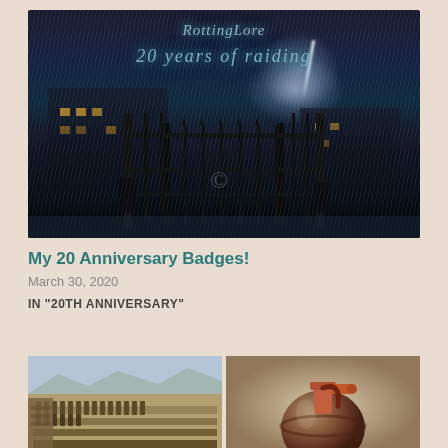[Figure (illustration): Dark atmospheric illustration of a gothic building at night in the rain with lightning in the sky, iron gate in foreground, two figures silhouetted at the gate. Text overlay reads 'RottingLore' and '20 years of raiding']
My 20 Anniversary Badges!
March 30, 2020
IN "20TH ANNIVERSARY"
[Figure (photo): Two side-by-side photos: left shows an archaeological site with rows of ancient terracotta figures or ruins in an arid landscape; right shows a ceramic pottery vessel with a spout, decorated in brown and rust tones]